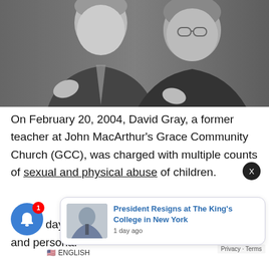[Figure (photo): Black and white composite photo of two men: one younger man in a suit smiling on the left, and one older man in a suit gesturing with his hands on the right]
On February 20, 2004, David Gray, a former teacher at John MacArthur's Grace Community Church (GCC), was charged with multiple counts of sexual and physical abuse of children.
days late... unity Church (GCC) and personal
[Figure (screenshot): Popup notification card showing 'President Resigns at The King's College in New York' with a thumbnail photo and date '1 day ago']